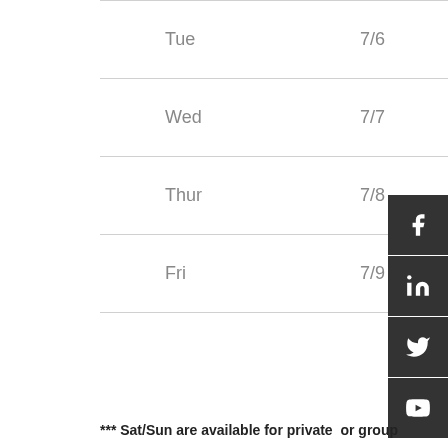| Day | Date | Times |
| --- | --- | --- |
| Tue | 7/6 | 9, 10 group & 1... |
| Wed | 7/7 | 9, 10 group & 11... |
| Thur | 7/8 | 9, 10 grou... |
| Fri | 7/9 | 9, 10 grou... |
|  |  |  |
*** Sat/Sun are available for private  or group